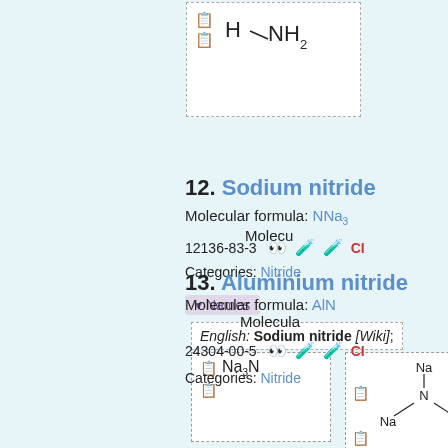[Figure (schematic): Chemical structure diagram showing H-NH2 molecule with dashed border box and small icons]
12. Sodium nitride
Molecular formula: NNa3   Molecu...
12136-83-3  [icons]  CI
Categories: Nitride
Names
English: Sodium nitride [Wiki];
[Figure (schematic): Chemical structure Na3N formula box with icons]
[Figure (schematic): Chemical structure diagram of Na3N showing Na atoms connected to central N, with icons]
13. Aluminium nitride
Molecular formula: AlN   Molecula...
24304-00-5  [icons]  CI
Categories: Nitride